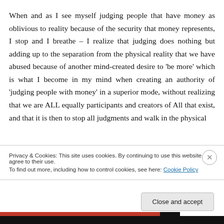When and as I see myself judging people that have money as oblivious to reality because of the security that money represents, I stop and I breathe – I realize that judging does nothing but adding up to the separation from the physical reality that we have abused because of another mind-created desire to 'be more' which is what I become in my mind when creating an authority of 'judging people with money' in a superior mode, without realizing that we are ALL equally participants and creators of All that exist, and that it is then to stop all judgments and walk in the physical
Privacy & Cookies: This site uses cookies. By continuing to use this website, you agree to their use.
To find out more, including how to control cookies, see here: Cookie Policy
Close and accept